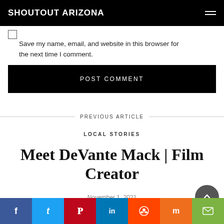SHOUTOUT ARIZONA
Save my name, email, and website in this browser for the next time I comment.
POST COMMENT
PREVIOUS ARTICLE
LOCAL STORIES
Meet DeVante Mack | Film Creator
November 1, 2021